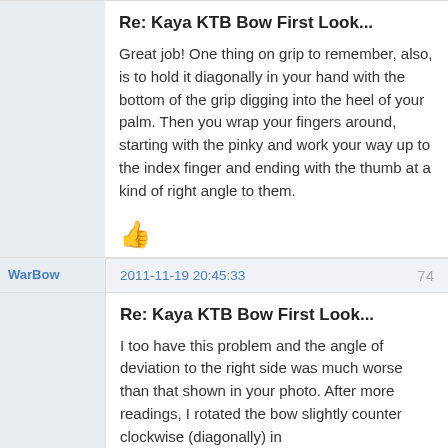Re: Kaya KTB Bow First Look...
Great job!  One thing on grip to remember, also, is to hold it diagonally in your hand with the bottom of the grip digging into the heel of your palm.  Then you wrap your fingers around, starting with the pinky and work your way up to the index finger and ending with the thumb at a kind of right angle to them.
[Figure (other): Thumbs up emoji icon]
WarBow
2011-11-19 20:45:33
74
Re: Kaya KTB Bow First Look...
I too have this problem and the angle of deviation to the right side was much worse than that shown in your photo.  After more readings, I rotated the bow slightly counter clockwise (diagonally) in